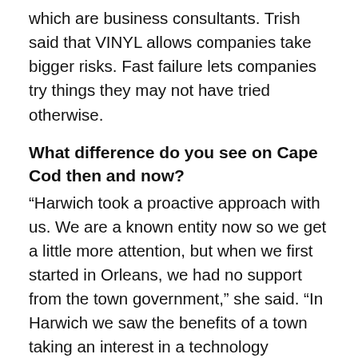which are business consultants. Trish said that VINYL allows companies take bigger risks. Fast failure lets companies try things they may not have tried otherwise.
What difference do you see on Cape Cod then and now?
“Harwich took a proactive approach with us. We are a known entity now so we get a little more attention, but when we first started in Orleans, we had no support from the town government,” she said. “In Harwich we saw the benefits of a town taking an interest in a technology business. Whatever is happening here, if you want technology, the towns have to support you.”
She also mentioned the need for infrastructure, making town government digital, and streamlining systems so they are less cumbersome and inefficient.